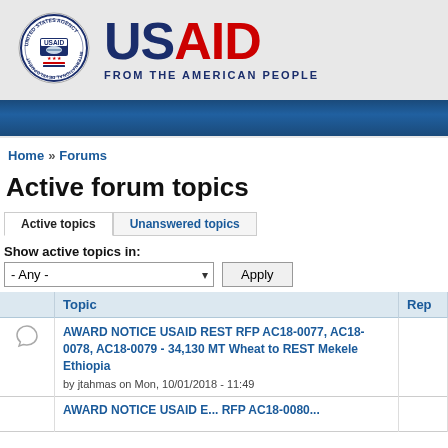[Figure (logo): USAID logo with seal — United States Agency for International Development — FROM THE AMERICAN PEOPLE]
Home » Forums
Active forum topics
Active topics | Unanswered topics
Show active topics in:
- Any -   Apply
|  | Topic | Rep |
| --- | --- | --- |
| [chat icon] | AWARD NOTICE USAID REST RFP AC18-0077, AC18-0078, AC18-0079 - 34,130 MT Wheat to REST Mekele Ethiopia
by jtahmas on Mon, 10/01/2018 - 11:49 |  |
|  | AWARD NOTICE USAID E... [partial] |  |